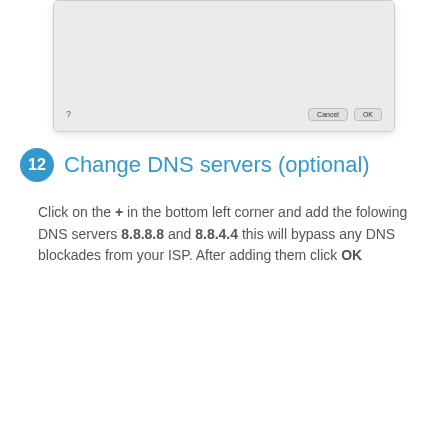[Figure (screenshot): Partial macOS dialog box showing Cancel and OK buttons at the bottom, with a question mark icon on the lower left.]
12 Change DNS servers (optional)
Click on the + in the bottom left corner and add the folowing DNS servers 8.8.8.8 and 8.8.4.4 this will bypass any DNS blockades from your ISP. After adding them click OK
[Figure (screenshot): macOS Network preferences window showing TopVPN (PPTP) selected with DNS tab active, listing DNS Servers 8.8.8.8 and 8.8.4.4, and an empty Search Domains field.]